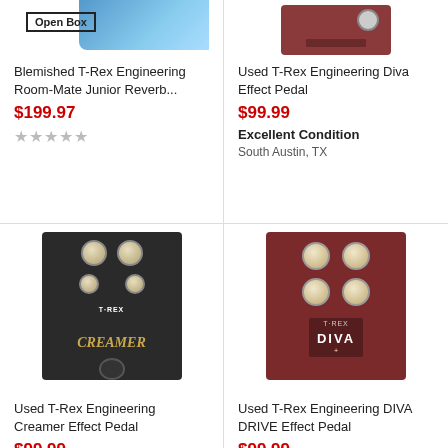[Figure (photo): Product photo of T-Rex Engineering Room-Mate Junior Reverb pedal, shown from above, blue colored, with Open Box label badge]
Open Box
Blemished T-Rex Engineering Room-Mate Junior Reverb...
$199.97
★★★★★
[Figure (photo): Product photo of T-Rex Engineering Diva Effect Pedal, dark red/brown colored pedal from above]
Used T-Rex Engineering Diva Effect Pedal
$99.99
Excellent Condition
South Austin, TX
[Figure (photo): Product photo of T-Rex Engineering Creamer Effect Pedal, black pedal with cream colored knobs and gold Creamer logo]
Used T-Rex Engineering Creamer Effect Pedal
$99.99
[Figure (photo): Product photo of T-Rex Engineering DIVA DRIVE Effect Pedal, dark red pedal with cream knobs]
Used T-Rex Engineering DIVA DRIVE Effect Pedal
$99.99